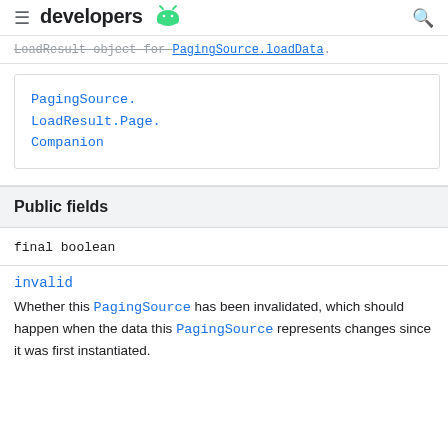developers
LoadResult object for PagingSource.loadData.
PagingSource.LoadResult.Page.Companion
Public fields
final boolean
invalid
Whether this PagingSource has been invalidated, which should happen when the data this PagingSource represents changes since it was first instantiated.